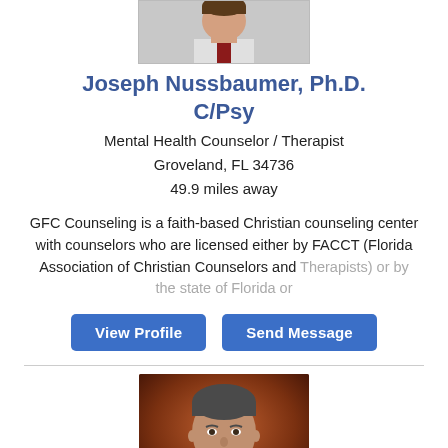[Figure (photo): Professional headshot of Joseph Nussbaumer, partially visible at top of page]
Joseph Nussbaumer, Ph.D. C/Psy
Mental Health Counselor / Therapist
Groveland, FL 34736
49.9 miles away
GFC Counseling is a faith-based Christian counseling center with counselors who are licensed either by FACCT (Florida Association of Christian Counselors and Therapists) or by the state of Florida or
View Profile
Send Message
[Figure (photo): Professional portrait photo of a middle-aged man with short gray-brown hair against an orange-brown background]